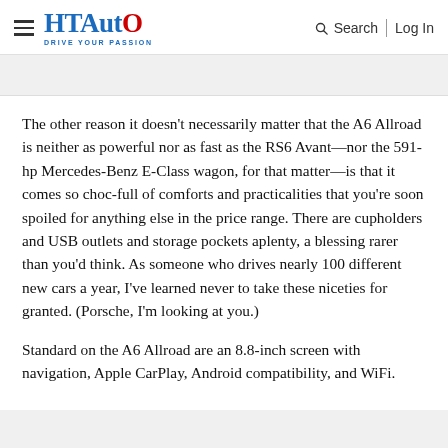HT Auto — Drive Your Passion | Search | Log In
The other reason it doesn't necessarily matter that the A6 Allroad is neither as powerful nor as fast as the RS6 Avant—nor the 591-hp Mercedes-Benz E-Class wagon, for that matter—is that it comes so choc-full of comforts and practicalities that you're soon spoiled for anything else in the price range. There are cupholders and USB outlets and storage pockets aplenty, a blessing rarer than you'd think. As someone who drives nearly 100 different new cars a year, I've learned never to take these niceties for granted. (Porsche, I'm looking at you.)
Standard on the A6 Allroad are an 8.8-inch screen with navigation, Apple CarPlay, Android compatibility, and WiFi.